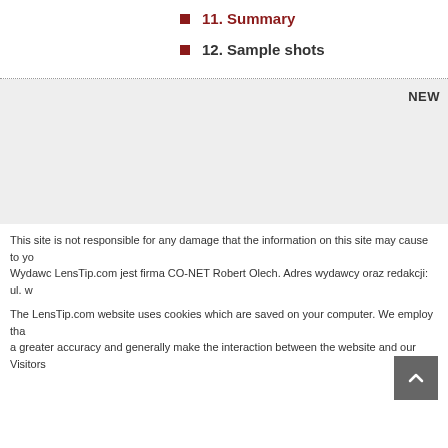11. Summary
12. Sample shots
NEW
This site is not responsible for any damage that the information on this site may cause to yo... Wydawc LensTip.com jest firma CO-NET Robert Olech. Adres wydawcy oraz redakcji: ul. w...
The LensTip.com website uses cookies which are saved on your computer. We employ tha... a greater accuracy and generally make the interaction between the website and our Visitors...